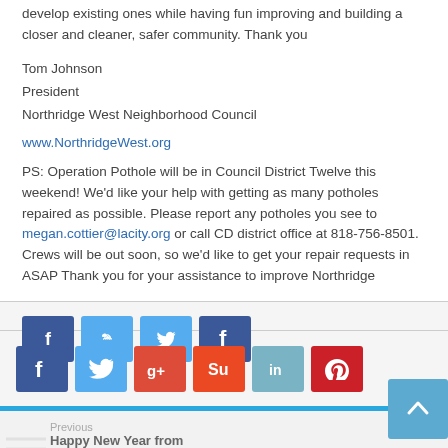develop existing ones while having fun improving and building a closer and cleaner, safer community. Thank you
Tom Johnson
President
Northridge West Neighborhood Council
www.NorthridgeWest.org
PS: Operation Pothole will be in Council District Twelve this weekend! We'd like your help with getting as many potholes repaired as possible. Please report any potholes you see to megan.cottier@lacity.org or call CD district office at 818-756-8501. Crews will be out soon, so we'd like to get your repair requests in ASAP Thank you for your assistance to improve Northridge
[Figure (infographic): Social media sharing buttons: Facebook (blue), Twitter (light blue), Google+ (red), StumbleUpon (orange-red), LinkedIn (teal), Pinterest (red)]
Previous
Happy New Year from